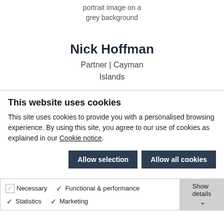portrait image on a grey background
Nick Hoffman
Partner | Cayman Islands
This website uses cookies
This site uses cookies to provide you with a personalised browsing experience. By using this site, you agree to our use of cookies as explained in our Cookie notice.
Allow selection  Allow all cookies
Necessary  Functional & performance  Statistics  Marketing  Show details